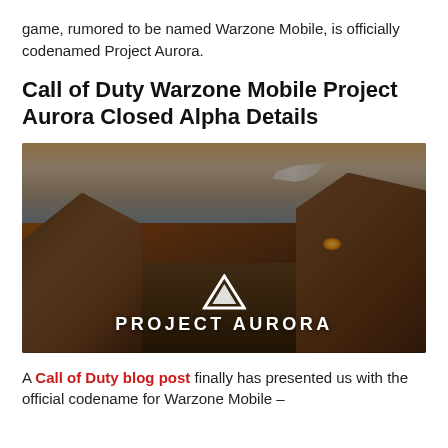game, rumored to be named Warzone Mobile, is officially codenamed Project Aurora.
Call of Duty Warzone Mobile Project Aurora Closed Alpha Details
[Figure (illustration): Promotional illustration for Project Aurora / Warzone Mobile showing soldiers with weapons in a rocky terrain. A military jet flies overhead. The Project Aurora logo (triangle and text) is overlaid at the bottom center.]
A Call of Duty blog post finally has presented us with the official codename for Warzone Mobile –